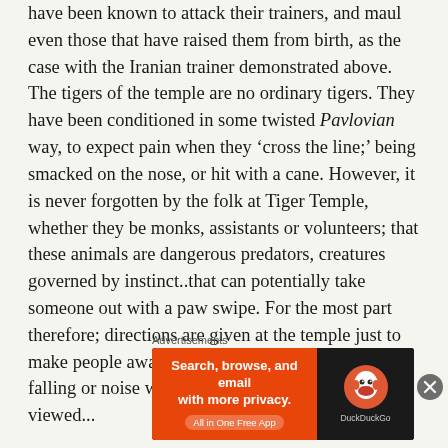have been known to attack their trainers, and maul even those that have raised them from birth, as the case with the Iranian trainer demonstrated above.  The tigers of the temple are no ordinary tigers. They have been conditioned in some twisted Pavlovian way, to expect pain when they 'cross the line;' being smacked on the nose, or hit with a cane. However, it is never forgotten by the folk at Tiger Temple, whether they be monks, assistants or volunteers; that these animals are dangerous predators, creatures governed by instinct..that can potentially take someone out with a paw swipe. For the most part therefore; directions are given at the temple just to make people aware of wrong movements, running, falling or noise which can suddenly make them viewed...
Advertisements
[Figure (other): DuckDuckGo advertisement banner: orange left panel with text 'Search, browse, and email with more privacy. All in One Free App' and dark right panel with DuckDuckGo logo and name.]